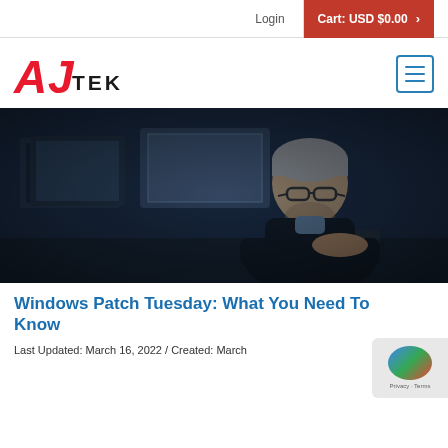Login | Cart: USD $0.00
[Figure (logo): AJ TEK logo — red stylized AJ letters with dark TEK text, and a hamburger menu icon on the right]
[Figure (photo): Middle-aged man with grey hair and glasses working at a computer workstation in a dark office environment with multiple monitors]
Windows Patch Tuesday: What You Need To Know
Last Updated: March 16, 2022 / Created: March